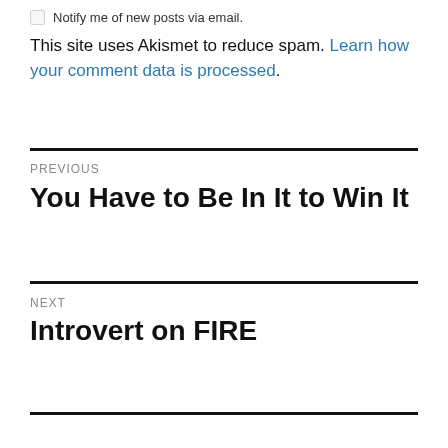Notify me of new posts via email.
This site uses Akismet to reduce spam. Learn how your comment data is processed.
PREVIOUS
You Have to Be In It to Win It
NEXT
Introvert on FIRE